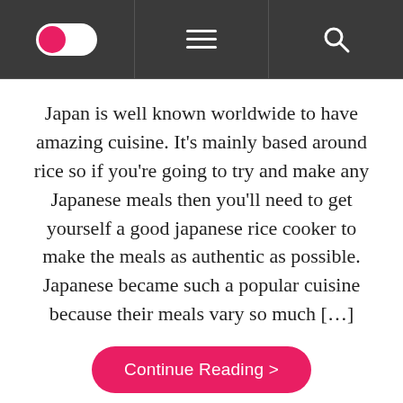Navigation header with toggle, menu, and search icons
Japan is well known worldwide to have amazing cuisine. It’s mainly based around rice so if you’re going to try and make any Japanese meals then you’ll need to get yourself a good japanese rice cooker to make the meals as authentic as possible. Japanese became such a popular cuisine because their meals vary so much […]
Continue Reading >
CATEGORY:  FOOD / RESTAURANT